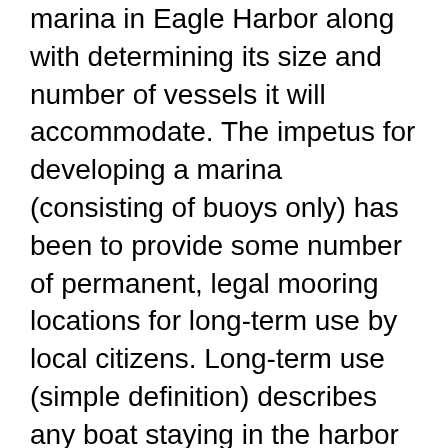marina in Eagle Harbor along with determining its size and number of vessels it will accommodate. The impetus for developing a marina (consisting of buoys only) has been to provide some number of permanent, legal mooring locations for long-term use by local citizens. Long-term use (simple definition) describes any boat staying in the harbor longer than 30 days.
Other than a thin ribbon of tidelands around the perimeter of the harbor (owned by adjacent waterfront property owners), Eagle Harbor belongs to the state of